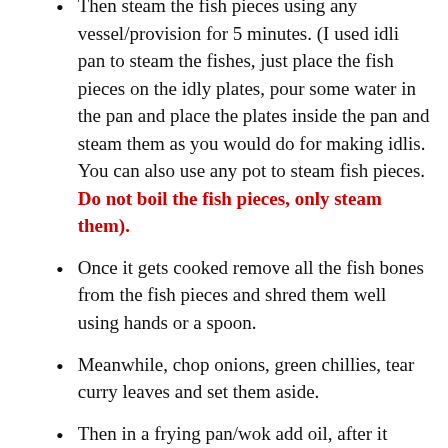Then steam the fish pieces using any vessel/provision for 5 minutes. (I used idli pan to steam the fishes, just place the fish pieces on the idly plates, pour some water in the pan and place the plates inside the pan and steam them as you would do for making idlis. You can also use any pot to steam fish pieces. Do not boil the fish pieces, only steam them).
Once it gets cooked remove all the fish bones from the fish pieces and shred them well using hands or a spoon.
Meanwhile, chop onions, green chillies, tear curry leaves and set them aside.
Then in a frying pan/wok add oil, after it heats up add mustard seeds and let it splutter.
Then add cumin seeds, urad dal (ulutham paruppu), and saute for a minute until the urad dal turns slightly brownish.
Then add curry leaves, chopped ginger, garlic and green chillies and saute well for a minute.